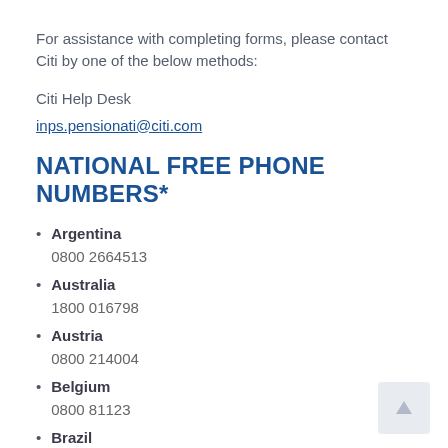For assistance with completing forms, please contact Citi by one of the below methods:
Citi Help Desk
inps.pensionati@citi.com
NATIONAL FREE PHONE NUMBERS*
Argentina
0800 2664513
Australia
1800 016798
Austria
0800 214004
Belgium
0800 81123
Brazil
0800 7621029
Canada
877 412 0544
Chile